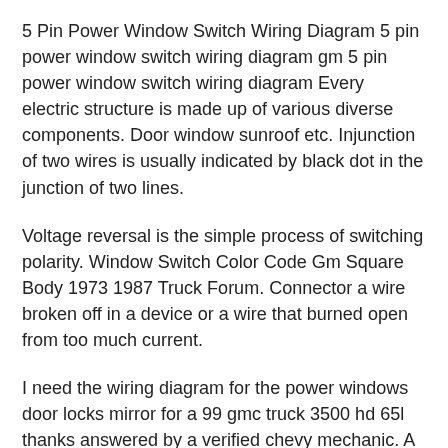5 Pin Power Window Switch Wiring Diagram 5 pin power window switch wiring diagram gm 5 pin power window switch wiring diagram Every electric structure is made up of various diverse components. Door window sunroof etc. Injunction of two wires is usually indicated by black dot in the junction of two lines.
Voltage reversal is the simple process of switching polarity. Window Switch Color Code Gm Square Body 1973 1987 Truck Forum. Connector a wire broken off in a device or a wire that burned open from too much current.
I need the wiring diagram for the power windows door locks mirror for a 99 gmc truck 3500 hd 65l thanks answered by a verified chevy mechanic. A checklist of electrical signs and summaries. 5 Pin Power Window Switch Wiring Diagram wiring diagram is a simplified suitable pictorial representation of an electrical circuit.